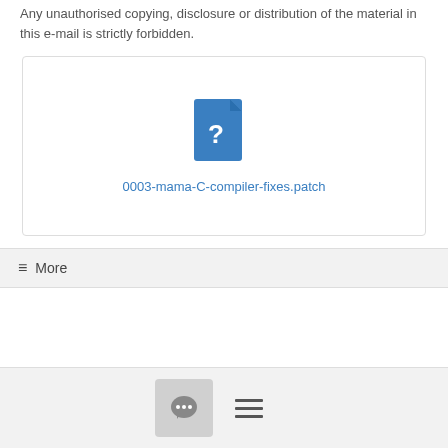Any unauthorised copying, disclosure or distribution of the material in this e-mail is strictly forbidden.
[Figure (illustration): File attachment box with a blue unknown file icon and link text '0003-mama-C-compiler-fixes.patch']
≡ More
[Figure (screenshot): Navigation back and forward buttons (← →) and pagination controls showing '1 - 1 of 1' with page number 1]
[Figure (screenshot): Bottom bar with chat bubble icon button and hamburger menu lines]